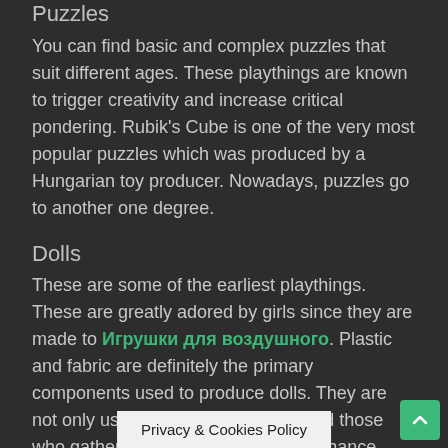Puzzles
You can find basic and complex puzzles that suit different ages. These playthings are known to trigger creativity and increase critical pondering. Rubik's Cube is one of the very most popular puzzles which was produced by a Hungarian toy producer. Nowadays, puzzles go to another one degree.
Dolls
These are some of the earliest playthings. These are greatly adored by girls since they are made to Игрушки для воздушного. Plastic and fabric are definitely the primary components used to produce dolls. They are not only used by children; you will find those who gather them as keepsakes or enhance their spaces. Some individuals attach religious which means to dolls.
Building units
These are standalone items that can be joined with each other to form a distinct design. These models might be cars, houses and even spaces he perfect
Privacy & Cookies Policy